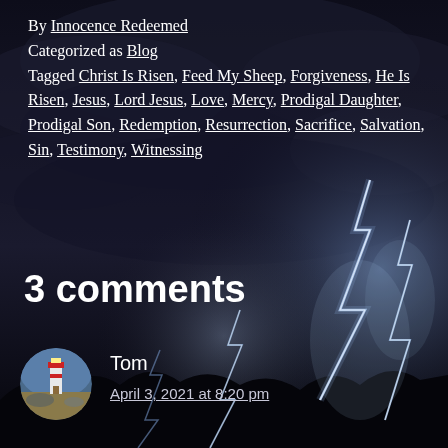[Figure (photo): Dark stormy sky with dramatic lightning bolts striking on the right side and center; silhouetted treeline at the bottom; dark atmospheric clouds throughout the background]
By Innocence Redeemed
Categorized as Blog
Tagged Christ Is Risen, Feed My Sheep, Forgiveness, He Is Risen, Jesus, Lord Jesus, Love, Mercy, Prodigal Daughter, Prodigal Son, Redemption, Resurrection, Sacrifice, Salvation, Sin, Testimony, Witnessing
3 comments
Tom
April 3, 2021 at 8:20 pm